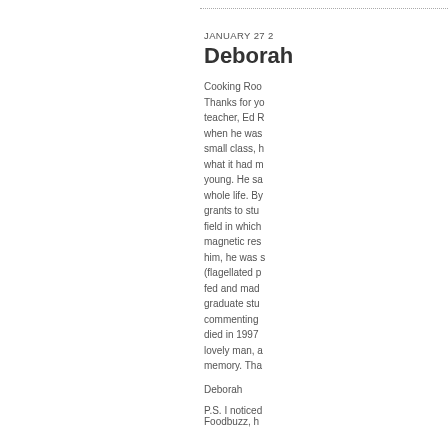JANUARY 27 2
Deborah
Cooking Roo Thanks for yo teacher, Ed R when he was small class, h what it had m young. He sa whole life. By grants to stu field in which magnetic res him, he was s (flagellated p fed and mad graduate stu commenting died in 1997 lovely man, a memory. Tha
Deborah
P.S. I noticed Foodbuzz, h